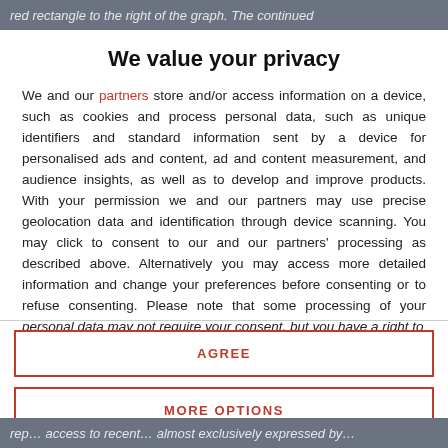red rectangle to the right of the graph. The continued
We value your privacy
We and our partners store and/or access information on a device, such as cookies and process personal data, such as unique identifiers and standard information sent by a device for personalised ads and content, ad and content measurement, and audience insights, as well as to develop and improve products. With your permission we and our partners may use precise geolocation data and identification through device scanning. You may click to consent to our and our partners' processing as described above. Alternatively you may access more detailed information and change your preferences before consenting or to refuse consenting. Please note that some processing of your personal data may not require your consent, but you have a right to
AGREE
MORE OPTIONS
rep… access to recent… almost exclusively by…